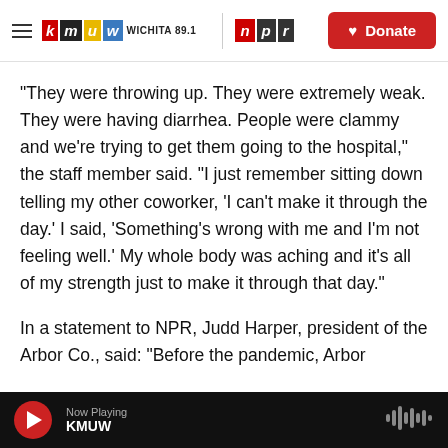[Figure (logo): KMUW Wichita 89.1 and NPR logos in header with Donate button]
"They were throwing up. They were extremely weak. They were having diarrhea. People were clammy and we're trying to get them going to the hospital," the staff member said. "I just remember sitting down telling my other coworker, 'I can't make it through the day.' I said, 'Something's wrong with me and I'm not feeling well.' My whole body was aching and it's all of my strength just to make it through that day."
In a statement to NPR, Judd Harper, president of the Arbor Co., said: "Before the pandemic, Arbor
Now Playing KMUW